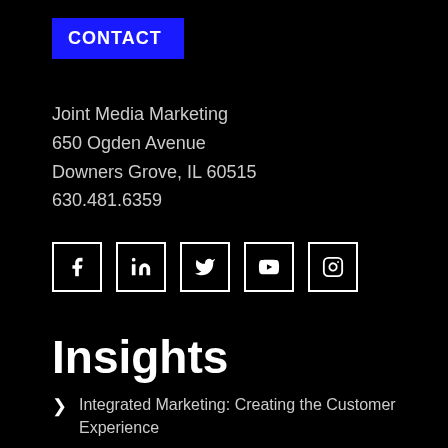CONTACT
Joint Media Marketing
650 Ogden Avenue
Downers Grove, IL 60515
630.481.6359
[Figure (other): Row of five social media icon boxes (Facebook, LinkedIn, Twitter, YouTube, Instagram) with white borders on black background]
Insights
Integrated Marketing: Creating the Customer Experience